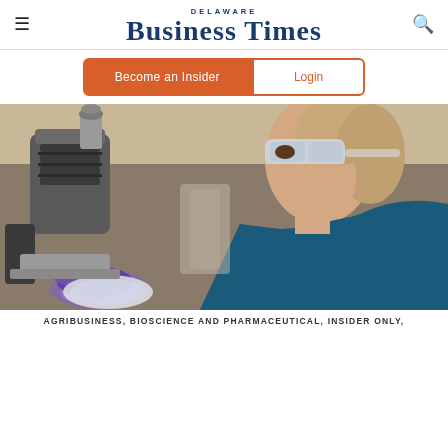Delaware Business Times
Become an Insider  Login
[Figure (photo): A woman in a blue lab coat and safety goggles looking through a microscope, wearing purple gloves, in a laboratory setting]
AGRIBUSINESS, BIOSCIENCE AND PHARMACEUTICAL, INSIDER ONLY,